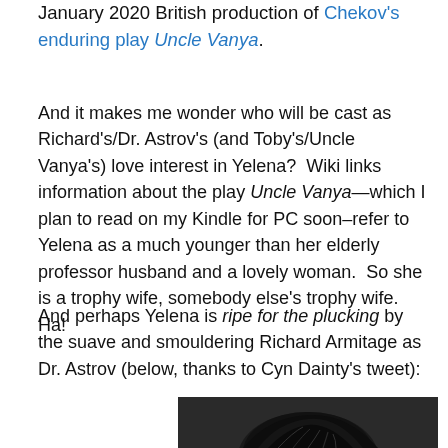January 2020 British production of Chekov's enduring play Uncle Vanya.
And it makes me wonder who will be cast as Richard's/Dr. Astrov's (and Toby's/Uncle Vanya's) love interest in Yelena?  Wiki links information about the play Uncle Vanya—which I plan to read on my Kindle for PC soon–refer to Yelena as a much younger than her elderly professor husband and a lovely woman.  So she is a trophy wife, somebody else's trophy wife. Ha!
And perhaps Yelena is ripe for the plucking by the suave and smouldering Richard Armitage as Dr. Astrov (below, thanks to Cyn Dainty's tweet):
[Figure (photo): Black and white photo showing the top of a person's head with dark hair, partially visible at the bottom of the page.]